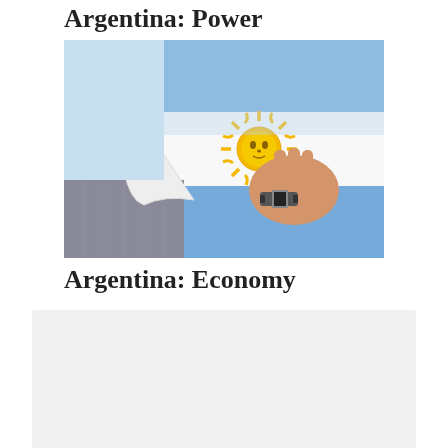Argentina: Power
[Figure (photo): A person wearing a light blue shirt and holding an Argentinian flag (blue and white stripes with the golden sun symbol), with grey trousers. The hand is gripping the flag, pulling it open to reveal an empty pocket, symbolizing economic hardship. The person is also wearing a watch.]
Argentina: Economy
[Figure (other): Gray placeholder box at the bottom of the page]